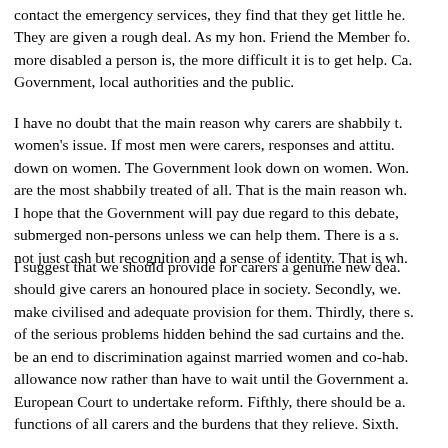contact the emergency services, they find that they get little he. They are given a rough deal. As my hon. Friend the Member fo. more disabled a person is, the more difficult it is to get help. Ca. Government, local authorities and the public.
I have no doubt that the main reason why carers are shabbily t. women's issue. If most men were carers, responses and attitu. down on women. The Government look down on women. Won. are the most shabbily treated of all. That is the main reason wh. I hope that the Government will pay due regard to this debate, submerged non-persons unless we can help them. There is a s. not just cash but recognition and a sense of identity. That is wh.
I suggest that we should provide for carers a genuine new dea. should give carers an honoured place in society. Secondly, we. make civilised and adequate provision for them. Thirdly, there s. of the serious problems hidden behind the sad curtains and the. be an end to discrimination against married women and co-hab. allowance now rather than have to wait until the Government a. European Court to undertake reform. Fifthly, there should be a. functions of all carers and the burdens that they relieve. Sixth.